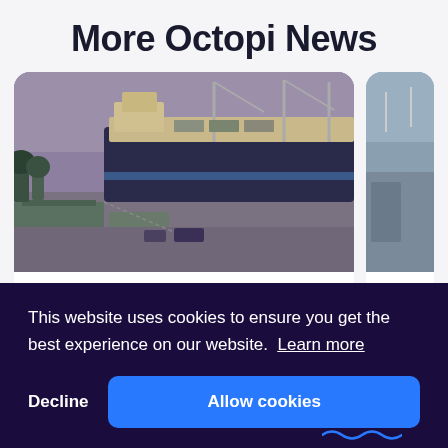More Octopi News
[Figure (photo): Aerial view of a large cargo ship docked at a port terminal with cranes and warehouse buildings visible.]
Coastal Cargo Company Signs a Subscription Agreement with Octopi
This website uses cookies to ensure you get the best experience on our website. Learn more
Decline
Allow cookies